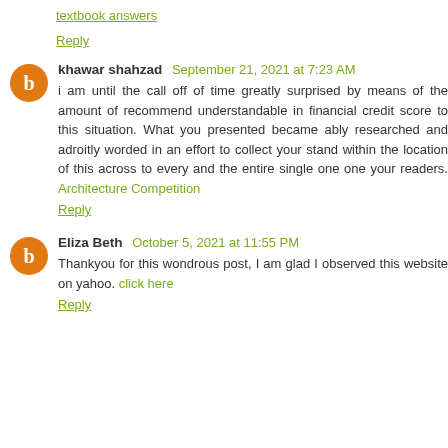textbook answers
Reply
khawar shahzad September 21, 2021 at 7:23 AM
i am until the call off of time greatly surprised by means of the amount of recommend understandable in financial credit score to this situation. What you presented became ably researched and adroitly worded in an effort to collect your stand within the location of this across to every and the entire single one one your readers. Architecture Competition
Reply
Eliza Beth October 5, 2021 at 11:55 PM
Thankyou for this wondrous post, I am glad I observed this website on yahoo. click here
Reply